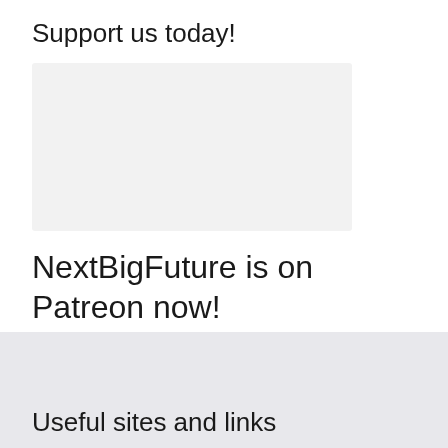Support us today!
[Figure (other): Light gray rectangular image placeholder]
NextBigFuture is on Patreon now!
Unlock exclusive content and join our community. Join us today! Thank you! — Brian Wang
Useful sites and links